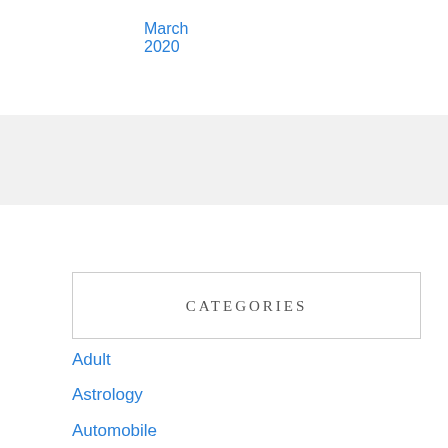March 2020
CATEGORIES
Adult
Astrology
Automobile
Beauty
Betting
Blog
Business
Carpets